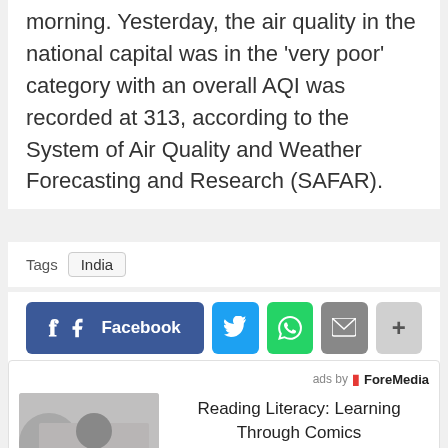morning. Yesterday, the air quality in the national capital was in the 'very poor' category with an overall AQI was recorded at 313, according to the System of Air Quality and Weather Forecasting and Research (SAFAR).
Tags  India
[Figure (infographic): Social sharing buttons: Facebook, Twitter, WhatsApp, Email, More]
[Figure (infographic): Advertisement box: 'ads by ForeMedia' label, image of children reading/drawing, text: Reading Literacy: Learning Through Comics]